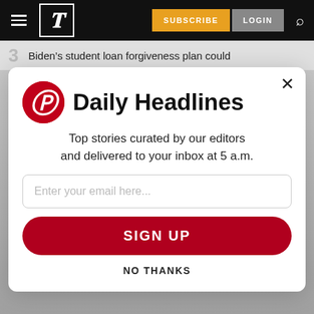[Figure (screenshot): Newspaper website navigation bar with hamburger menu, logo P in blackletter style, SUBSCRIBE button in orange, LOGIN button in gray, and search icon]
3  Biden's student loan forgiveness plan could
[Figure (screenshot): Email newsletter signup modal for Daily Headlines. Contains P logo in red circle, title 'Daily Headlines', text 'Top stories curated by our editors and delivered to your inbox at 5 a.m.', email input field, SIGN UP button in red, and NO THANKS link.]